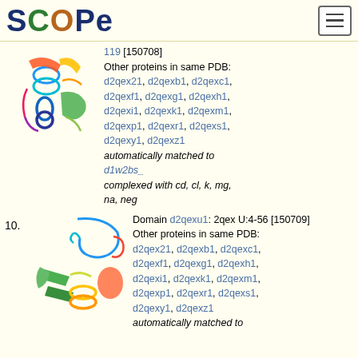SCOPe
[Figure (illustration): 3D protein structure rendering (rainbow coloring) for a SCOP domain entry, partial view at top of page]
119 [150708]
Other proteins in same PDB:
d2qex21, d2qexb1, d2qexc1, d2qexf1, d2qexg1, d2qexh1, d2qexi1, d2qexk1, d2qexm1, d2qexp1, d2qexr1, d2qexs1, d2qexy1, d2qexz1
automatically matched to d1w2bs_
complexed with cd, cl, k, mg, na, neg
10.
[Figure (illustration): 3D protein structure rendering (rainbow coloring) for domain d2qexu1, 2qex U:4-56 [150709]]
Domain d2qexu1: 2qex U:4-56 [150709]
Other proteins in same PDB:
d2qex21, d2qexb1, d2qexc1, d2qexf1, d2qexg1, d2qexh1, d2qexi1, d2qexk1, d2qexm1, d2qexp1, d2qexr1, d2qexs1, d2qexy1, d2qexz1
automatically matched to